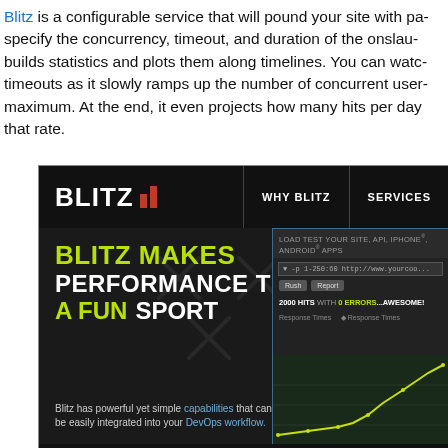Blitz is a configurable service that will pound your site with pa... specify the concurrency, timeout, and duration of the onslaught builds statistics and plots them along timelines. You can watch timeouts as it slowly ramps up the number of concurrent users maximum. At the end, it even projects how many hits per day that rate.
[Figure (screenshot): Screenshot of the Blitz.io website showing a dark-themed landing page with the Blitz logo and navigation bar (WHY BLITZ, SERVICES), a large headline 'BLITZ MAKES PERFORMANCE TESTING A FUN SPORT' in white and yellow-green text, a sub-caption about capabilities and DevOps workflow, and a right-side panel showing load test results with a graph. At the bottom a partial 'Pricing plans starts at fre...' message.]